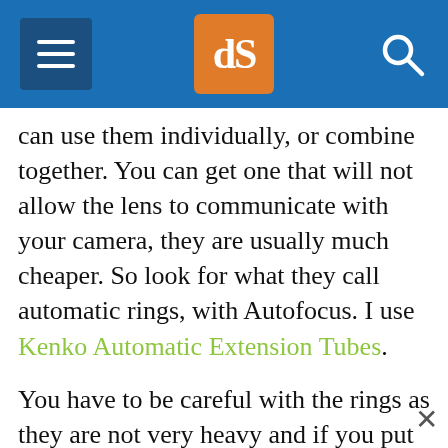dPS website header with hamburger menu, logo, and search icon
can use them individually, or combine together. You can get one that will not allow the lens to communicate with your camera, they are usually much cheaper. So look for what they call automatic rings, with Autofocus. I use Kenko Automatic Extension Tubes.
You have to be careful with the rings as they are not very heavy and if you put a big hefty lens on your camera and don't give it enough support, then you risk damaging the connection betwee